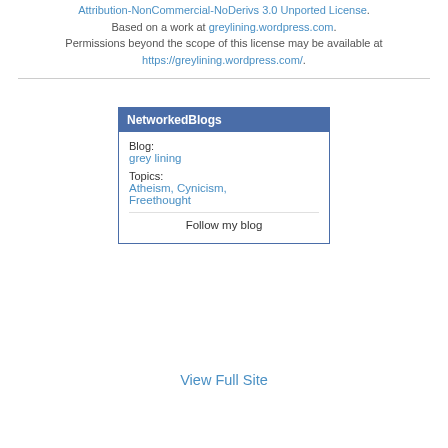Grey Lining by Frank Hoggle is licensed under a Creative Commons Attribution-NonCommercial-NoDerivs 3.0 Unported License. Based on a work at greylining.wordpress.com. Permissions beyond the scope of this license may be available at https://greylining.wordpress.com/.
[Figure (other): NetworkedBlogs widget showing Blog: grey lining, Topics: Atheism, Cynicism, Freethought, with a Follow my blog button]
View Full Site